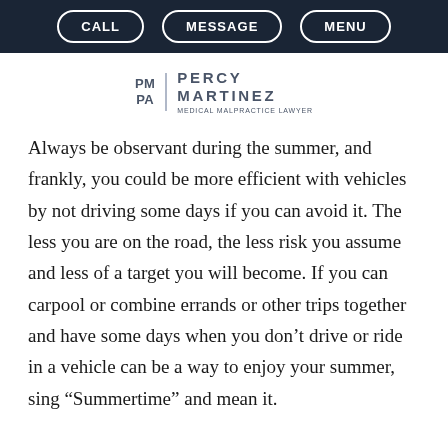CALL  MESSAGE  MENU
[Figure (logo): Percy Martinez Medical Malpractice Lawyer logo with PM/PA monogram and vertical divider]
Always be observant during the summer, and frankly, you could be more efficient with vehicles by not driving some days if you can avoid it. The less you are on the road, the less risk you assume and less of a target you will become. If you can carpool or combine errands or other trips together and have some days when you don't drive or ride in a vehicle can be a way to enjoy your summer, sing “Summertime” and mean it.